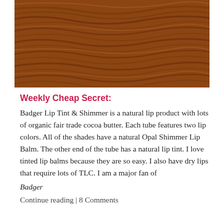[Figure (photo): Close-up photograph of brown wood grain texture with wavy lines running horizontally across the surface]
Weekly Cheap Secret:
Badger Lip Tint & Shimmer is a natural lip product with lots of organic fair trade cocoa butter. Each tube features two lip colors. All of the shades have a natural Opal Shimmer Lip Balm. The other end of the tube has a natural lip tint. I love tinted lip balms because they are so easy. I also have dry lips that require lots of TLC. I am a major fan of
Badger
Continue reading | 8 Comments